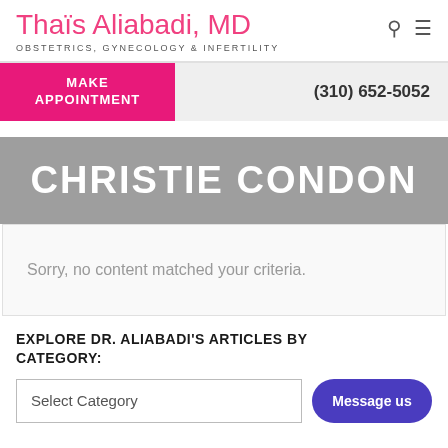Thaïs Aliabadi, MD
OBSTETRICS, GYNECOLOGY & INFERTILITY
MAKE APPOINTMENT
(310) 652-5052
CHRISTIE CONDON
Sorry, no content matched your criteria.
EXPLORE DR. ALIABADI'S ARTICLES BY CATEGORY:
Select Category
Message us